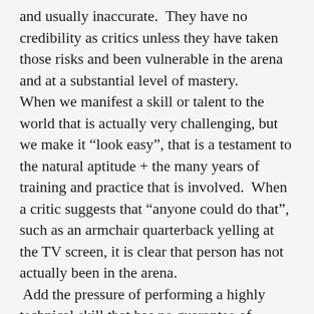and usually inaccurate.  They have no credibility as critics unless they have taken those risks and been vulnerable in the arena and at a substantial level of mastery. When we manifest a skill or talent to the world that is actually very challenging, but we make it “look easy”, that is a testament to the natural aptitude + the many years of training and practice that is involved.  When a critic suggests that “anyone could do that”, such as an armchair quarterback yelling at the TV screen, it is clear that person has not actually been in the arena.  Add the pressure of performing a highly technical skill that has no guarantee of success in front of others and we start to realize we should change from criticism to admiration.  Anytime I think “I could do that”, I then either imagine myself doing it or actually do it.